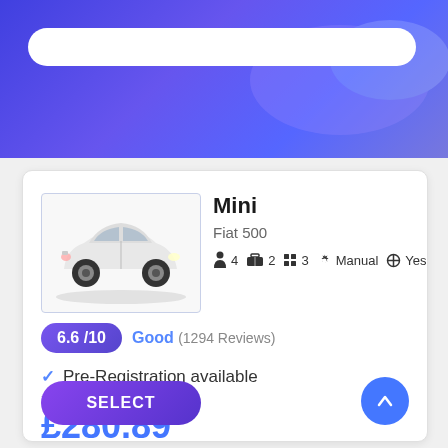[Figure (screenshot): Blue gradient header banner with search bar]
[Figure (photo): White Fiat 500 mini car photo]
Mini
Fiat 500
4 passengers  2 bags  3 doors  Manual  AC: Yes
6.6/10  Good (1294 Reviews)
Pre-Registration available
7 days
£280.89
SELECT